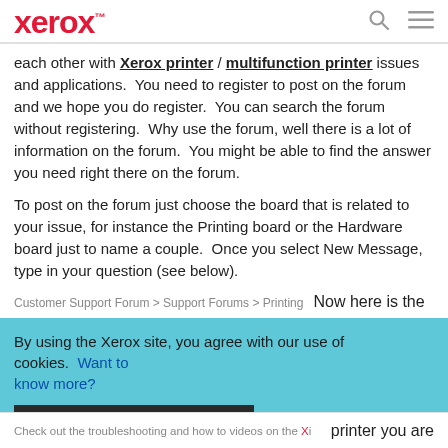Xerox™ [logo] [search icon] [menu icon]
each other with Xerox printer / multifunction printer issues and applications.  You need to register to post on the forum and we hope you do register.  You can search the forum without registering.  Why use the forum, well there is a lot of information on the forum.  You might be able to find the answer you need right there on the forum.
To post on the forum just choose the board that is related to your issue, for instance the Printing board or the Hardware board just to name a couple.  Once you select New Message, type in your question (see below).
Customer Support Forum > Support Forums > Printing    Now here is the
By using the Xerox site, you agree with our use of cookies.  Want to know more?
I consent to cookies
Check out the troubleshooting and how to videos on the X…   printer you are